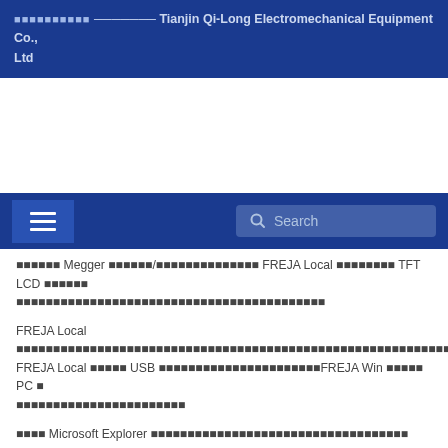ประกาศทั่วไป ─── Tianjin Qi-Long Electromechanical Equipment Co., Ltd
[Figure (screenshot): Navigation bar with hamburger menu icon and search box on dark blue background]
ทดสอบสำหรับ Megger เครื่องมือ/อุปกรณ์ในการทดสอบ FREJA Local จะมีหน้าจอ TFT LCD ขนาดใหญ่และระบบปฏิบัติการที่ทุกคนสามารถใช้งานได้
FREJA Local สามารถใช้งานได้อย่างอิสระโดยไม่จำเป็นต้องเชื่อมต่อกับคอมพิวเตอร์และซอฟต์แวร์ FREJA Local มีพอร์ต USB สำหรับการพิมพ์รายงานหรือการเชื่อมต่อกับFREJA Win บนคอมพิวเตอร์ PC เพื่อการควบคุมและการวิเคราะห์ขั้นสูง
ใช้ Microsoft Explorer เพื่อการเข้าถึงข้อมูลและรายงานต่างๆ ได้อย่างสะดวก
F546-30P2C1I1T1 FREJA 546 Standalone: Includes: International power cord, IEC 61850 test capability,
Transducer test capability, and test leads.
F546-30P2C1I1S1 FREJA 546 Standalone: Includes: International